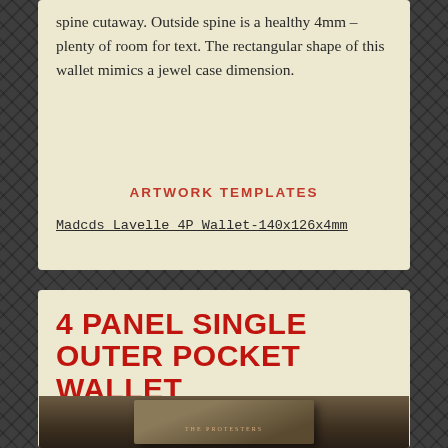spine cutaway. Outside spine is a healthy 4mm – plenty of room for text. The rectangular shape of this wallet mimics a jewel case dimension.
ARTWORK TEMPLATES
Madcds Lavelle 4P Wallet-140x126x4mm
4 PANEL SINGLE OUTER POCKET WALLET
[Figure (photo): Photo of a wallet product (The Protesters themed wallet/CD case) shown partially visible at the bottom of the page]